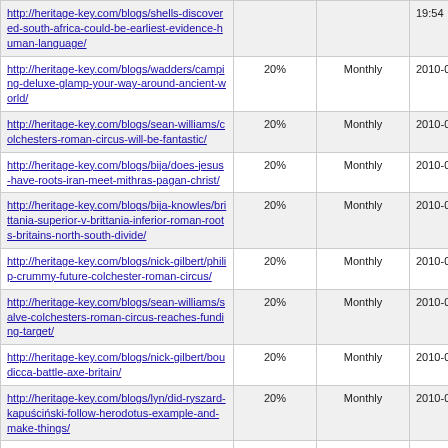| URL | Priority | Change Frequency | Last Modified |
| --- | --- | --- | --- |
| http://heritage-key.com/blogs/shells-discovered-south-africa-could-be-earliest-evidence-human-language/ |  |  | 19:54 |
| http://heritage-key.com/blogs/wadders/camping-deluxe-glamp-your-way-around-ancient-world/ | 20% | Monthly | 2010-03-05 17:20 |
| http://heritage-key.com/blogs/sean-williams/colchesters-roman-circus-will-be-fantastic/ | 20% | Monthly | 2010-03-05 16:44 |
| http://heritage-key.com/blogs/bija/does-jesus-have-roots-iran-meet-mithras-pagan-christ/ | 20% | Monthly | 2010-03-05 11:10 |
| http://heritage-key.com/blogs/bija-knowles/brittania-superior-v-brittania-inferior-roman-roots-britains-north-south-divide/ | 20% | Monthly | 2010-03-04 17:08 |
| http://heritage-key.com/blogs/nick-gilbert/philip-crummy-future-colchester-roman-circus/ | 20% | Monthly | 2010-03-04 12:54 |
| http://heritage-key.com/blogs/sean-williams/salve-colchesters-roman-circus-reaches-funding-target/ | 20% | Monthly | 2010-03-04 11:57 |
| http://heritage-key.com/blogs/nick-gilbert/boudicca-battle-axe-britain/ | 20% | Monthly | 2010-03-04 10:50 |
| http://heritage-key.com/blogs/lyn/did-ryszard-kapuściński-follow-herodotus-example-and-make-things/ | 20% | Monthly | 2010-03-04 09:46 |
| http://heritage-key.com/blogs/owenjarus/cock-doodle-... |  |  | 2010-03-04 |